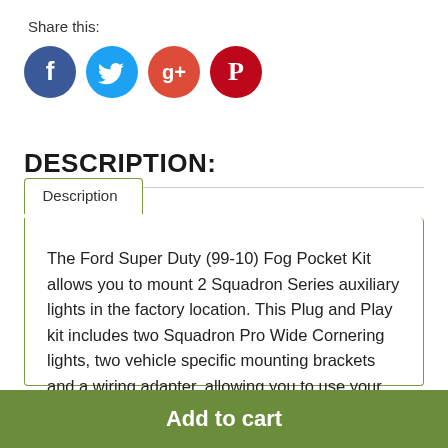Share this:
[Figure (other): Social media sharing icons: Facebook (blue), Twitter (light blue), Google+ (red), Pinterest (red circular icons)]
DESCRIPTION:
Description
The Ford Super Duty (99-10) Fog Pocket Kit allows you to mount 2 Squadron Series auxiliary lights in the factory location. This Plug and Play kit includes two Squadron Pro Wide Cornering lights, two vehicle specific mounting brackets and a wiring adapter, allowing you to use your
Add to cart